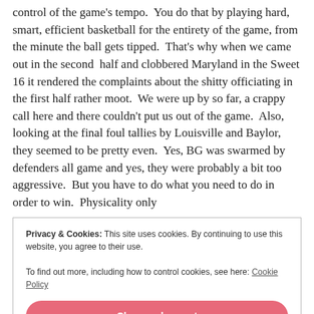control of the game's tempo.  You do that by playing hard, smart, efficient basketball for the entirety of the game, from the minute the ball gets tipped.  That's why when we came out in the second  half and clobbered Maryland in the Sweet 16 it rendered the complaints about the shitty officiating in the first half rather moot.  We were up by so far, a crappy call here and there couldn't put us out of the game.  Also, looking at the final foul tallies by Louisville and Baylor, they seemed to be pretty even.  Yes, BG was swarmed by defenders all game and yes, they were probably a bit too aggressive.  But you have to do what you need to do in order to win.  Physicality only
Privacy & Cookies: This site uses cookies. By continuing to use this website, you agree to their use.
To find out more, including how to control cookies, see here: Cookie Policy
Close and accept
called life.  Diana carried us to two more national championships